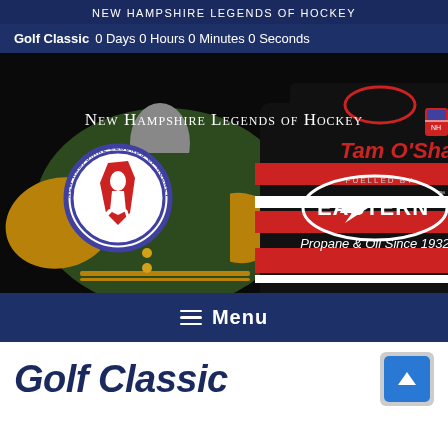NEW HAMPSHIRE LEGENDS OF HOCKEY
Golf Classic  0 Days 0 Hours 0 Minutes 0 Seconds
[Figure (photo): Hero banner showing hockey memorabilia: a green and tan varsity jacket on the left with the New Hampshire Legends of Hockey logo (white silhouette of hockey player on NH state shape), and a black red-and-white striped Tam O'Shanter hockey jersey on the right. Overlaid text reads 'New Hampshire Legends of Hockey' and 'FUELLED BY EASTERN Propane & Oil Since 1932'.]
≡ Menu
Golf Classic